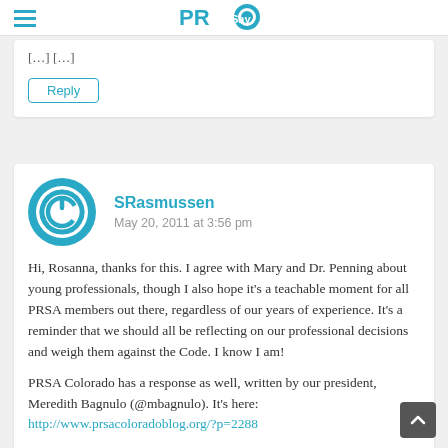PRSay logo with hamburger menu
[…] […]
Reply
SRasmussen
May 20, 2011 at 3:56 pm
Hi, Rosanna, thanks for this. I agree with Mary and Dr. Penning about young professionals, though I also hope it's a teachable moment for all PRSA members out there, regardless of our years of experience. It's a reminder that we should all be reflecting on our professional decisions and weigh them against the Code. I know I am!
PRSA Colorado has a response as well, written by our president, Meredith Bagnulo (@mbagnulo). It's here: http://www.prsacoloradoblog.org/?p=2288